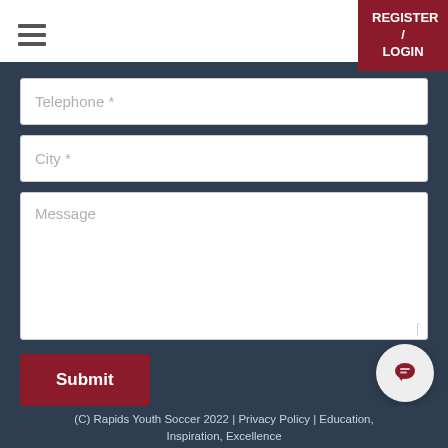REGISTER / LOGIN
[Figure (screenshot): Web form with fields: Telephone *, City *, Message, and a Submit button on a dark navy background]
(C) Rapids Youth Soccer 2022 | Privacy Policy | Education, Inspiration, Excellence